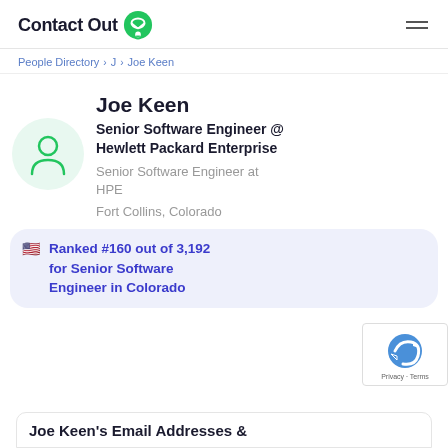ContactOut
People Directory > J > Joe Keen
Joe Keen
Senior Software Engineer @ Hewlett Packard Enterprise
Senior Software Engineer at HPE
Fort Collins, Colorado
Ranked #160 out of 3,192 for Senior Software Engineer in Colorado
Joe Keen's Email Addresses &